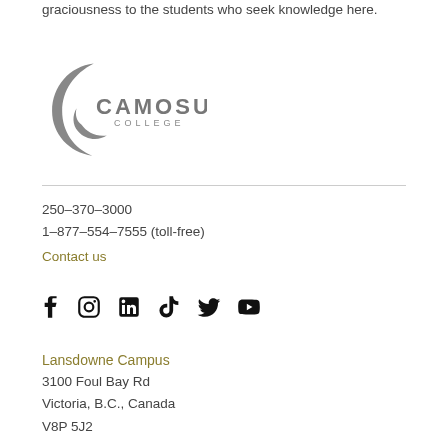graciousness to the students who seek knowledge here.
[Figure (logo): Camosun College logo — crescent/swirl shape in grey with 'CAMOSUN COLLEGE' text]
250–370–3000
1–877–554–7555 (toll-free)
Contact us
[Figure (infographic): Social media icons: Facebook, Instagram, LinkedIn, TikTok, Twitter/X, YouTube]
Lansdowne Campus
3100 Foul Bay Rd
Victoria, B.C., Canada
V8P 5J2